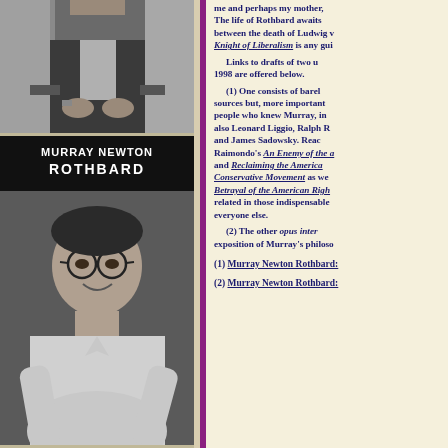[Figure (photo): Black and white photo of a man in a suit seated, hands folded, mid-torso and below view]
[Figure (photo): Black and white photo book cover reading 'Murray Newton Rothbard' with young man smiling, wearing glasses]
[Figure (photo): Color photo of a person at a desk with bookshelves in background]
me and perhaps my mother, The life of Rothbard awaits between the death of Ludwig v Knight of Liberalism is any gui
Links to drafts of two u 1998 are offered below.
(1) One consists of barel sources but, more important people who knew Murray, in also Leonard Liggio, Ralph R and James Sadowsky. Reac Raimondo's An Enemy of the a and Reclaiming the America Conservative Movement as we Betrayal of the American Righ related in those indispensable everyone else.
(2) The other opus inter exposition of Murray's philoso
(1) Murray Newton Rothbard:
(2) Murray Newton Rothbard: